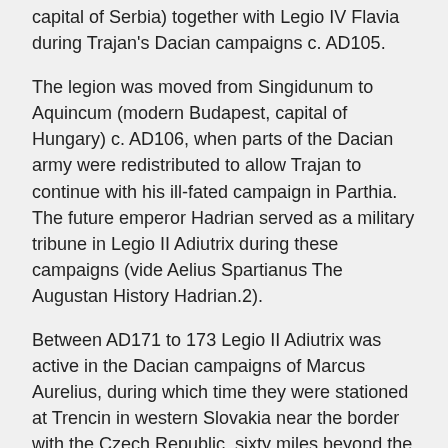capital of Serbia) together with Legio IV Flavia during Trajan's Dacian campaigns c. AD105.
The legion was moved from Singidunum to Aquincum (modern Budapest, capital of Hungary) c. AD106, when parts of the Dacian army were redistributed to allow Trajan to continue with his ill-fated campaign in Parthia. The future emperor Hadrian served as a military tribune in Legio II Adiutrix during these campaigns (vide Aelius Spartianus The Augustan History Hadrian.2).
Between AD171 to 173 Legio II Adiutrix was active in the Dacian campaigns of Marcus Aurelius, during which time they were stationed at Trencin in western Slovakia near the border with the Czech Republic, sixty miles beyond the Danube forming the northernmost Roman garrison in Central Europe.
Legio II Adiutrix – Links